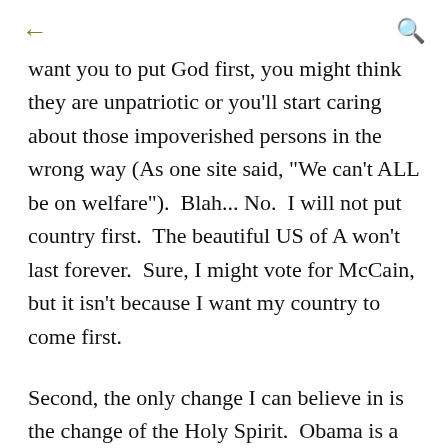← (back arrow)   🔍 (search icon)
want you to put God first, you might think they are unpatriotic or you'll start caring about those impoverished persons in the wrong way (As one site said, "We can't ALL be on welfare").  Blah... No.  I will not put country first.  The beautiful US of A won't last forever.  Sure, I might vote for McCain, but it isn't because I want my country to come first.
Second, the only change I can believe in is the change of the Holy Spirit.  Obama is a politician, and as such he will try to get elected.  And to get